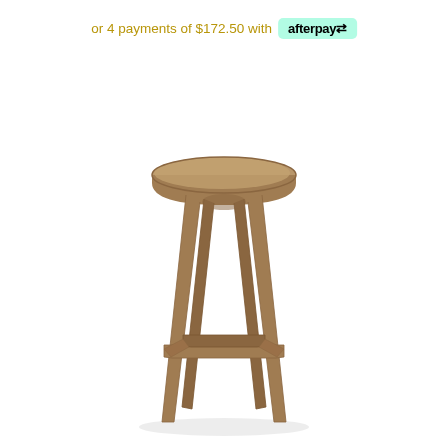or 4 payments of $172.50 with afterpay
[Figure (photo): A wooden bar stool with a round seat and four angled legs connected by horizontal stretchers near the base, shown against a white background.]